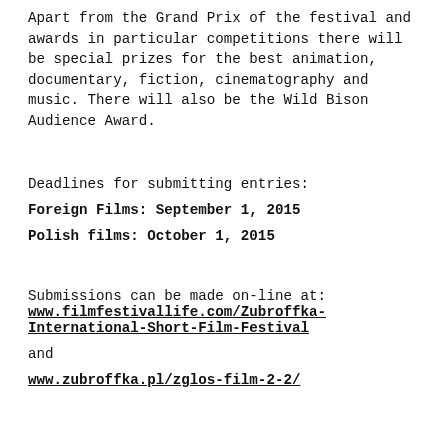Apart from the Grand Prix of the festival and awards in particular competitions there will be special prizes for the best animation, documentary, fiction, cinematography and music. There will also be the Wild Bison Audience Award.
Deadlines for submitting entries:
Foreign Films: September 1, 2015
Polish films: October 1, 2015
Submissions can be made on-line at:
www.filmfestivallife.com/Zubroffka-International-Short-Film-Festival
and
www.zubroffka.pl/zglos-film-2-2/